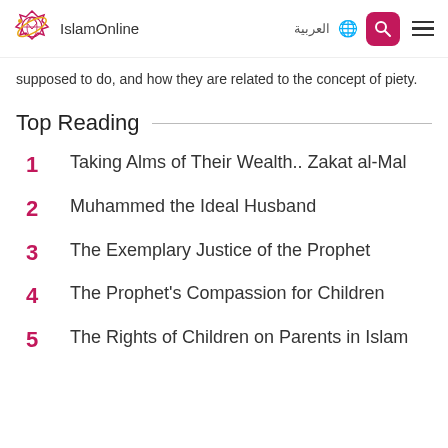IslamOnline | العربية
supposed to do, and how they are related to the concept of piety.
Top Reading
1  Taking Alms of Their Wealth.. Zakat al-Mal
2  Muhammed the Ideal Husband
3  The Exemplary Justice of the Prophet
4  The Prophet's Compassion for Children
5  The Rights of Children on Parents in Islam